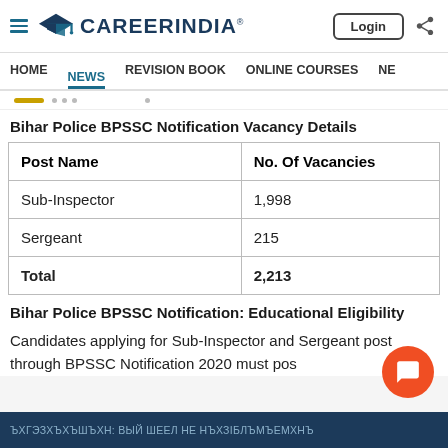CareerIndia - Login
HOME | NEWS | REVISION BOOK | ONLINE COURSES | NE
Bihar Police BPSSC Notification Vacancy Details
| Post Name | No. Of Vacancies |
| --- | --- |
| Sub-Inspector | 1,998 |
| Sergeant | 215 |
| Total | 2,213 |
Bihar Police BPSSC Notification: Educational Eligibility
Candidates applying for Sub-Inspector and Sergeant post through BPSSC Notification 2020 must pos...